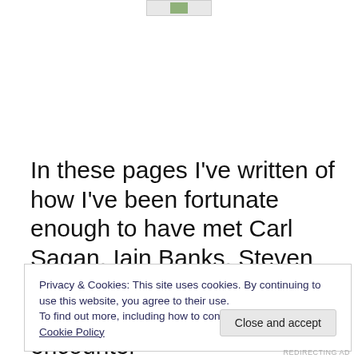[Figure (logo): Small green logo/image at top center of page]
In these pages I've written of how I've been fortunate enough to have met Carl Sagan, Iain Banks, Steven Moffat and Brian Cox, but I do which I'd had an encounter
Privacy & Cookies: This site uses cookies. By continuing to use this website, you agree to their use.
To find out more, including how to control cookies, see here: Cookie Policy
Close and accept